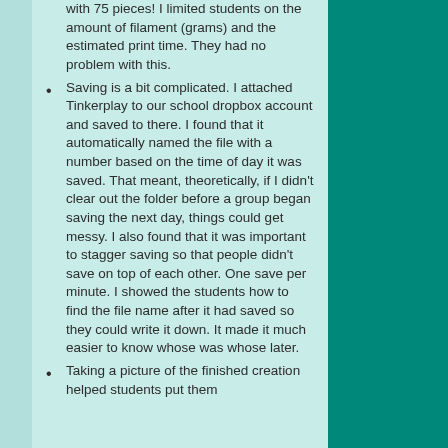with 75 pieces!  I limited students on the amount of filament (grams) and the estimated print time.  They had no problem with this.
Saving is a bit complicated.  I attached Tinkerplay to our school dropbox account and saved to there.  I found that it automatically named the file with a number based on the time of day it was saved.  That meant, theoretically, if I didn't clear out the folder before a group began saving the next day, things could get messy.  I also found that it was important to stagger saving so that people didn't save on top of each other.  One save per minute.  I showed the students how to find the file name after it had saved so they could write it down.  It made it much easier to know whose was whose later.
Taking a picture of the finished creation helped students put them